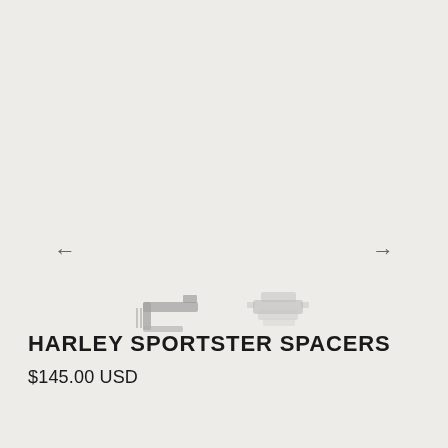[Figure (photo): Product image area showing navigation arrows (left and right) and two small thumbnail images of Harley Sportster Spacers motorcycle parts on a light beige background.]
HARLEY SPORTSTER SPACERS
$145.00 USD